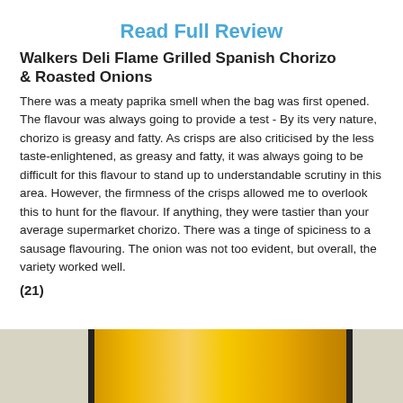Read Full Review
Walkers Deli Flame Grilled Spanish Chorizo & Roasted Onions
There was a meaty paprika smell when the bag was first opened. The flavour was always going to provide a test - By its very nature, chorizo is greasy and fatty. As crisps are also criticised by the less taste-enlightened, as greasy and fatty, it was always going to be difficult for this flavour to stand up to understandable scrutiny in this area. However, the firmness of the crisps allowed me to overlook this to hunt for the flavour. If anything, they were tastier than your average supermarket chorizo. There was a tinge of spiciness to a sausage flavouring. The onion was not too evident, but overall, the variety worked well.
(21)
[Figure (photo): Partial image of a yellow/gold snack packet (Walkers Deli) visible at the bottom of the page, showing the top portion of the bag with black stripe accents.]